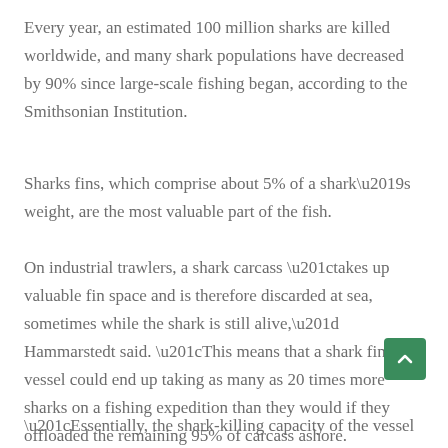Every year, an estimated 100 million sharks are killed worldwide, and many shark populations have decreased by 90% since large-scale fishing began, according to the Smithsonian Institution.
Sharks fins, which comprise about 5% of a shark’s weight, are the most valuable part of the fish.
On industrial trawlers, a shark carcass “takes up valuable fin space and is therefore discarded at sea, sometimes while the shark is still alive,” Hammarstedt said. “This means that a shark finning vessel could end up taking as many as 20 times more sharks on a fishing expedition than they would if they offloaded the remaining 95% of carcass ashore.
“Essentially, the shark-killing capacity of the vessel